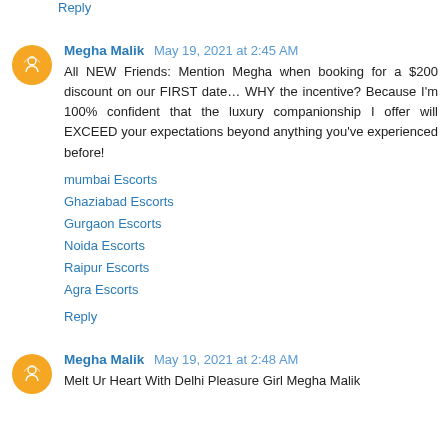Reply
Megha Malik  May 19, 2021 at 2:45 AM
All NEW Friends: Mention Megha when booking for a $200 discount on our FIRST date… WHY the incentive? Because I'm 100% confident that the luxury companionship I offer will EXCEED your expectations beyond anything you've experienced before!
mumbai Escorts
Ghaziabad Escorts
Gurgaon Escorts
Noida Escorts
Raipur Escorts
Agra Escorts
Reply
Megha Malik  May 19, 2021 at 2:48 AM
Melt Ur Heart With Delhi Pleasure Girl Megha Malik